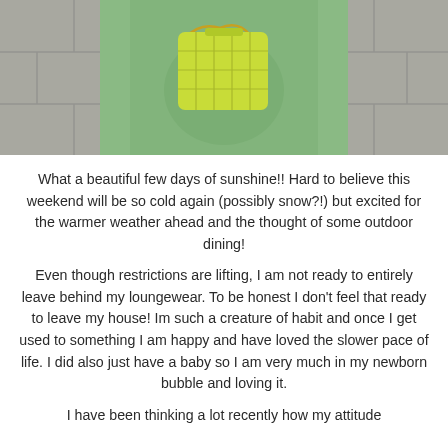[Figure (photo): A person wearing a mint/sage green knit sweater holding a quilted lime yellow handbag with gold chain strap, standing on a grey stone pavement sidewalk.]
What a beautiful few days of sunshine!! Hard to believe this weekend will be so cold again (possibly snow?!) but excited for the warmer weather ahead and the thought of some outdoor dining!
Even though restrictions are lifting, I am not ready to entirely leave behind my loungewear. To be honest I don't feel that ready to leave my house! Im such a creature of habit and once I get used to something I am happy and have loved the slower pace of life. I did also just have a baby so I am very much in my newborn bubble and loving it.
I have been thinking a lot recently how my attitude